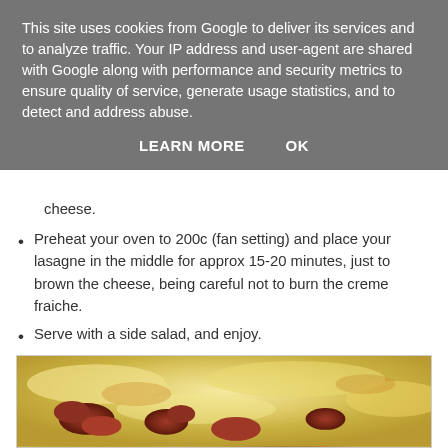This site uses cookies from Google to deliver its services and to analyze traffic. Your IP address and user-agent are shared with Google along with performance and security metrics to ensure quality of service, generate usage statistics, and to detect and address abuse.
LEARN MORE    OK
cheese.
Preheat your oven to 200c (fan setting) and place your lasagne in the middle for approx 15-20 minutes, just to brown the cheese, being careful not to burn the creme fraiche.
Serve with a side salad, and enjoy.
[Figure (photo): A close-up photo of a baked lasagne with browned cheese on top and visible meat sauce]